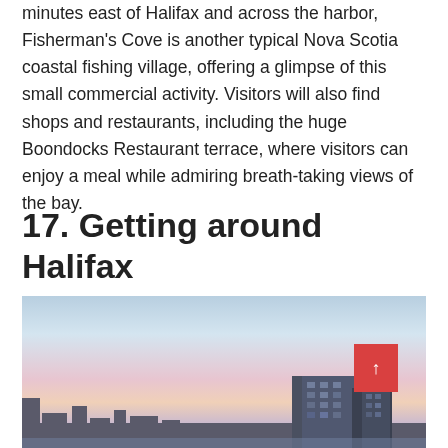minutes east of Halifax and across the harbor, Fisherman's Cove is another typical Nova Scotia coastal fishing village, offering a glimpse of this small commercial activity. Visitors will also find shops and restaurants, including the huge Boondocks Restaurant terrace, where visitors can enjoy a meal while admiring breath-taking views of the bay.
17. Getting around Halifax
[Figure (photo): Cityscape of Halifax at dusk/sunset with pink and blue sky, buildings silhouetted, modern architecture visible on right with a red square button overlay showing an upward arrow]